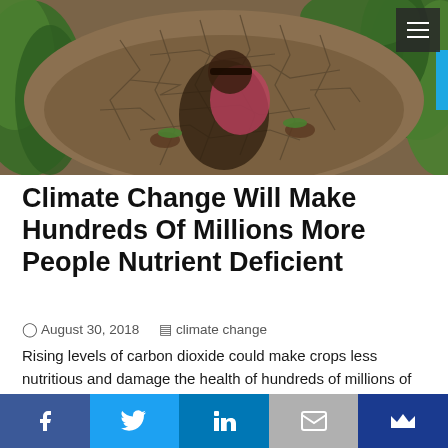[Figure (photo): Aerial view of a woman kneeling on severely cracked dry earth, reaching toward sparse green plants/crops, surrounded by green rice plants on the edges]
Climate Change Will Make Hundreds Of Millions More People Nutrient Deficient
August 30, 2018   climate change
Rising levels of carbon dioxide could make crops less nutritious and damage the health of hundreds of millions of people, research has revealed, with those living in some of the world's poorest regions likely
[Figure (infographic): Social media sharing bar with Facebook, Twitter, LinkedIn, email, and bookmark buttons]